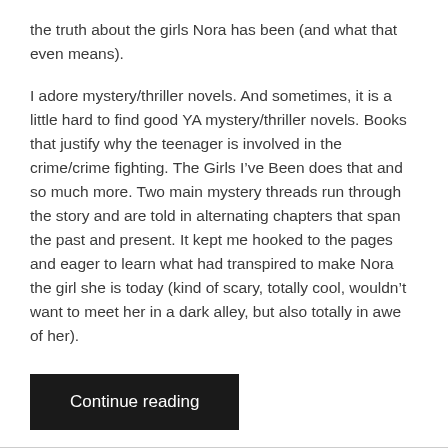the truth about the girls Nora has been (and what that even means).
I adore mystery/thriller novels. And sometimes, it is a little hard to find good YA mystery/thriller novels. Books that justify why the teenager is involved in the crime/crime fighting. The Girls I’ve Been does that and so much more. Two main mystery threads run through the story and are told in alternating chapters that span the past and present. It kept me hooked to the pages and eager to learn what had transpired to make Nora the girl she is today (kind of scary, totally cool, wouldn’t want to meet her in a dark alley, but also totally in awe of her).
Continue reading